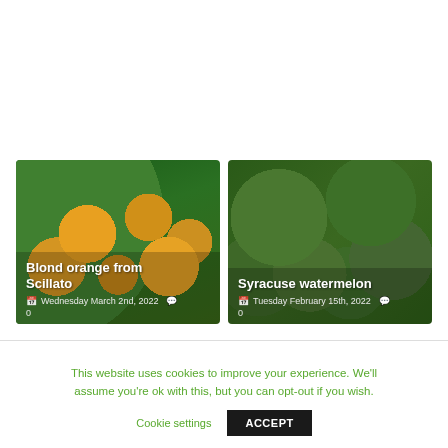[Figure (photo): Two blog post cards side by side. Left card shows oranges on tree with title 'Blond orange from Scillato' and date 'Wednesday March 2nd, 2022' with 0 comments. Right card shows watermelons with title 'Syracuse watermelon' and date 'Tuesday February 15th, 2022' with 0 comments.]
This website uses cookies to improve your experience. We'll assume you're ok with this, but you can opt-out if you wish.
Cookie settings   ACCEPT